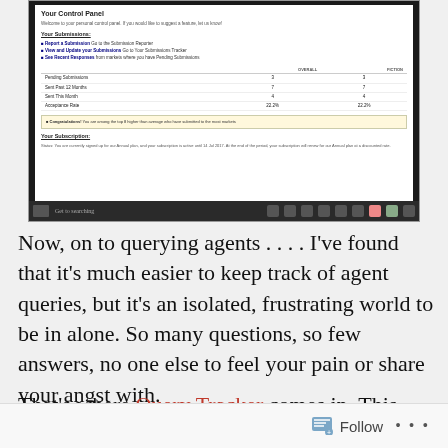[Figure (screenshot): Screenshot of a website control panel showing 'Your Control Panel' with submission statistics table (Pending Submissions: 3/3, Sent Past 12 Months: 7/7, Sent This Month: 4/4, Acceptance Rate: 22.2%/22.2%) and subscription information. A Windows taskbar is visible at the bottom.]
Now, on to querying agents . . . . I've found that it's much easier to keep track of agent queries, but it's an isolated, frustrating world to be in alone. So many questions, so few answers, no one else to feel your pain or share your angst with.
That's where Query Tracker comes in. This